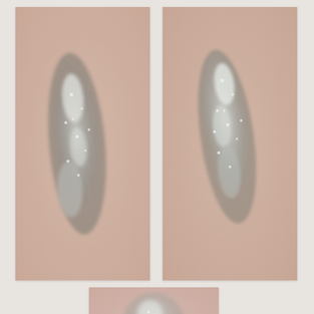[Figure (photo): Top-left photo: Close-up of skin with a silver/grey shimmer eyeshadow swatch applied diagonally, showing metallic shimmer texture on pale skin.]
[Figure (photo): Top-right photo: Close-up of skin with a silver/grey shimmer eyeshadow swatch applied diagonally, similar to top-left but slightly different angle/lighting.]
[Figure (photo): Bottom-center photo: Close-up of skin with a lighter, more diffused silver/grey shimmer eyeshadow swatch, partially cut off at bottom of page.]